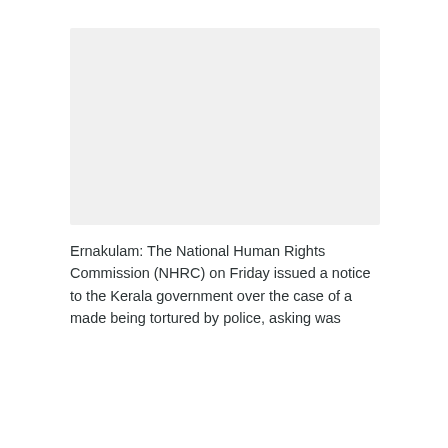[Figure (photo): A blank/placeholder image with light grey background]
Ernakulam: The National Human Rights Commission (NHRC) on Friday issued a notice to the Kerala government over the case of a made being tortured by police, asking was